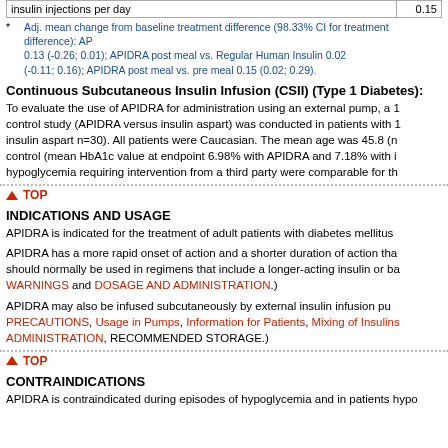|  |  |
| --- | --- |
| insulin injections per day | 0.15 |
* Adj. mean change from baseline treatment difference (98.33% CI for treatment difference): AP... 0.13 (-0.26; 0.01); APIDRA post meal vs. Regular Human Insulin 0.02 (-0.11; 0.16); APIDRA post meal vs. pre meal 0.15 (0.02; 0.29).
Continuous Subcutaneous Insulin Infusion (CSII) (Type 1 Diabetes):
To evaluate the use of APIDRA for administration using an external pump, a ... control study (APIDRA versus insulin aspart) was conducted in patients with ... insulin aspart n=30). All patients were Caucasian. The mean age was 45.8 (n... control (mean HbA1c value at endpoint 6.98% with APIDRA and 7.18% with i... hypoglycemia requiring intervention from a third party were comparable for th...
▲ TOP
INDICATIONS AND USAGE
APIDRA is indicated for the treatment of adult patients with diabetes mellitus...
APIDRA has a more rapid onset of action and a shorter duration of action tha... should normally be used in regimens that include a longer-acting insulin or ba... WARNINGS and DOSAGE AND ADMINISTRATION.)
APIDRA may also be infused subcutaneously by external insulin infusion pu... PRECAUTIONS, Usage in Pumps, Information for Patients, Mixing of Insulins... ADMINISTRATION, RECOMMENDED STORAGE.)
▲ TOP
CONTRAINDICATIONS
APIDRA is contraindicated during episodes of hypoglycemia and in patients hypo...